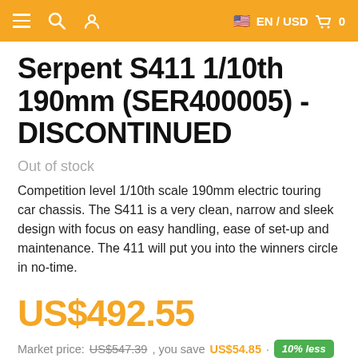≡  🔍  👤    🇺🇸 EN / USD  🛍  0
Serpent S411 1/10th 190mm (SER400005) - DISCONTINUED
Out of stock
Competition level 1/10th scale 190mm electric touring car chassis. The S411 is a very clean, narrow and sleek design with focus on easy handling, ease of set-up and maintenance. The 411 will put you into the winners circle in no-time.
US$492.55
Market price: US$547.39, you save US$54.85 · 10% less